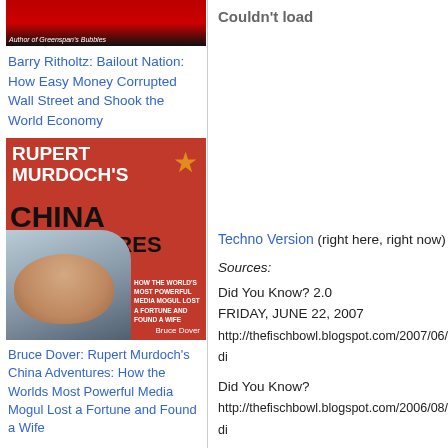[Figure (photo): Book cover top portion of Barry Ritholtz Bailout Nation with red and dark background]
Barry Ritholtz: Bailout Nation: How Easy Money Corrupted Wall Street and Shook the World Economy
[Figure (photo): Book cover: Rupert Murdoch's China Adventures by Bruce Dover - red cover with large black text and photo of Murdoch]
Bruce Dover: Rupert Murdoch's China Adventures: How the Worlds Most Powerful Media Mogul Lost a Fortune and Found a Wife
Couldn't load
Techno Version (right here, right now)
Sources:
Did You Know? 2.0
FRIDAY, JUNE 22, 2007
http://thefischbowl.blogspot.com/2007/06/di
Did You Know?
http://thefischbowl.blogspot.com/2006/08/di
Saturday, November 01, 2008 | 03:00 AM | Pe
add to de.li.cious | digg this! | add to